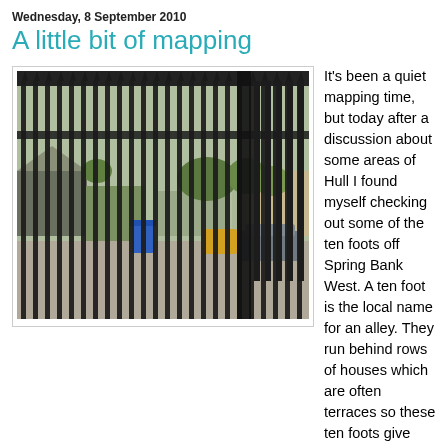Wednesday, 8 September 2010
A little bit of mapping
[Figure (photo): Iron security gate with arrow-tipped railings, view through to an alley/yard area with garages, buildings, a blue bin, and parked car visible in the background.]
It's been a quiet mapping time, but today after a discussion about some areas of Hull I found myself checking out some of the ten foots off Spring Bank West. A ten foot is the local name for an alley. They run behind rows of houses which are often terraces so these ten foots give access to the back of the houses. The land that fronts onto the ten foot are almost all garages, maybe at one time it would have been a garden. A few of these alleys have been closed to public access with